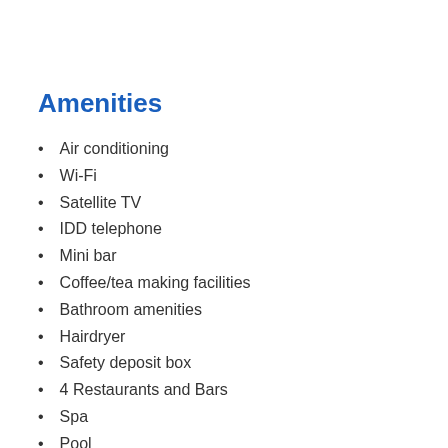Amenities
Air conditioning
Wi-Fi
Satellite TV
IDD telephone
Mini bar
Coffee/tea making facilities
Bathroom amenities
Hairdryer
Safety deposit box
4 Restaurants and Bars
Spa
Pool